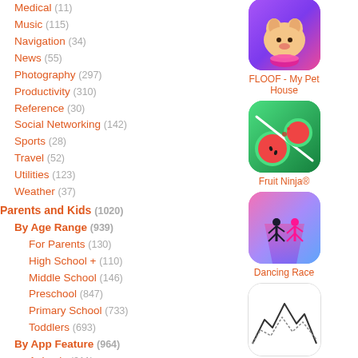Medical (11)
Music (115)
Navigation (34)
News (55)
Photography (297)
Productivity (310)
Reference (30)
Social Networking (142)
Sports (28)
Travel (52)
Utilities (123)
Weather (37)
Parents and Kids (1020)
By Age Range (939)
For Parents (130)
High School + (110)
Middle School (146)
Preschool (847)
Primary School (733)
Toddlers (693)
By App Feature (964)
Animals (211)
Art (377)
Counting (66)
[Figure (screenshot): FLOOF - My Pet House app icon: purple/pink gradient background with cartoon puppy]
FLOOF - My Pet House
[Figure (screenshot): Fruit Ninja® app icon: green fruit being sliced on dark background]
Fruit Ninja®
[Figure (screenshot): Dancing Race app icon: colorful runners on a road]
Dancing Race
[Figure (screenshot): PeakFinder app icon: mountain line drawing on white background]
PeakFinder